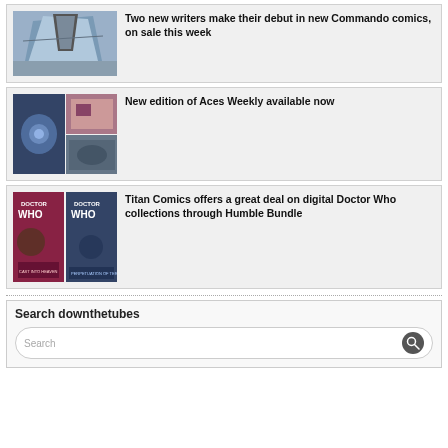Two new writers make their debut in new Commando comics, on sale this week
New edition of Aces Weekly available now
Titan Comics offers a great deal on digital Doctor Who collections through Humble Bundle
Search downthetubes